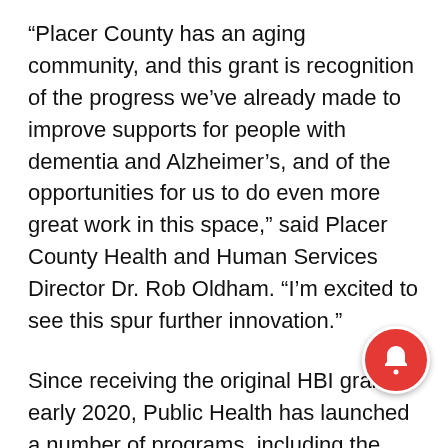“Placer County has an aging community, and this grant is recognition of the progress we’ve already made to improve supports for people with dementia and Alzheimer’s, and of the opportunities for us to do even more great work in this space,” said Placer County Health and Human Services Director Dr. Rob Oldham. “I’m excited to see this spur further innovation.”
Since receiving the original HBI grant in early 2020, Public Health has launched a number of programs, including the Project Lifesaver effort with Lincoln and Auburn law enforcement partners, which helps officers more quickly locate someone who has wandered away from home. The HBI program has also partnered with the